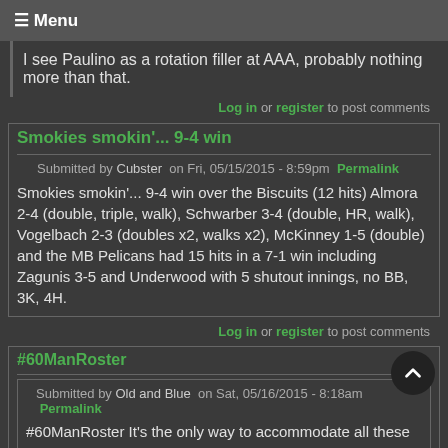☰ Menu
I see Paulino as a rotation filler at AAA, probably nothing more than that.
Log in or register to post comments
Smokies smokin'... 9-4 win
Submitted by Cubster on Fri, 05/15/2015 - 8:59pm Permalink
Smokies smokin'... 9-4 win over the Biscuits (12 hits) Almora 2-4 (double, triple, walk), Schwarber 3-4 (double, HR, walk), Vogelbach 2-3 (doubles x2, walks x2), McKinney 1-5 (double) and the MB Pelicans had 15 hits in a 7-1 win including Zagunis 3-5 and Underwood with 5 shutout innings, no BB, 3K, 4H.
Log in or register to post comments
#60ManRoster
Submitted by Old and Blue on Sat, 05/16/2015 - 8:18am Permalink
#60ManRoster It's the only way to accommodate all these guys.